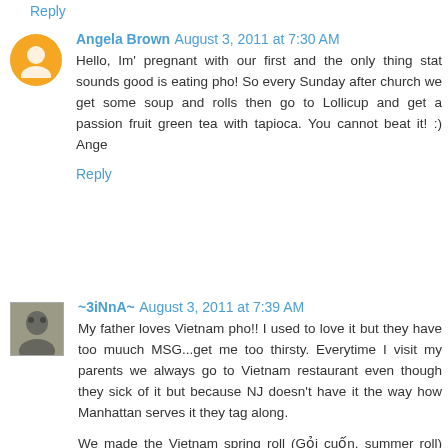Reply
Angela Brown August 3, 2011 at 7:30 AM
Hello, Im' pregnant with our first and the only thing stat sounds good is eating pho! So every Sunday after church we get some soup and rolls then go to Lollicup and get a passion fruit green tea with tapioca. You cannot beat it! :) Ange
Reply
~3iNnA~ August 3, 2011 at 7:39 AM
My father loves Vietnam pho!! I used to love it but they have too muuch MSG...get me too thirsty. Everytime I visit my parents we always go to Vietnam restaurant even though they sick of it but because NJ doesn't have it the way how Manhattan serves it they tag along.

We made the Vietnam spring roll (Gỏi cuốn, summer roll) with lots of peanut sauce...(mmmm) and the cha gio (crispy ...